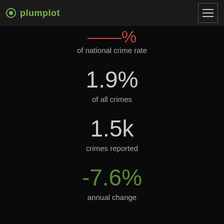plumplot
of national crime rate
1.9%
of all crimes
1.5k
crimes reported
-7.6%
annual change